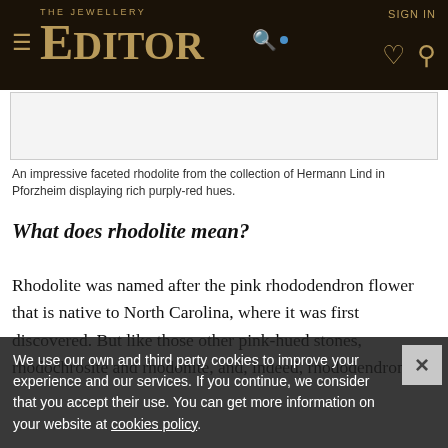THE JEWELLERY EDITOR — SIGN IN
[Figure (photo): Faceted rhodolite gemstone image placeholder]
An impressive faceted rhodolite from the collection of Hermann Lind in Pforzheim displaying rich purply-red hues.
What does rhodolite mean?
Rhodolite was named after the pink rhododendron flower that is native to North Carolina, where it was first discovered. But like those other pink-hued stones, rhodochrosite and rhodonite, and, indeed, rhododendrons,
We use our own and third party cookies to improve your experience and our services. If you continue, we consider that you accept their use. You can get more information on your website at cookies policy.